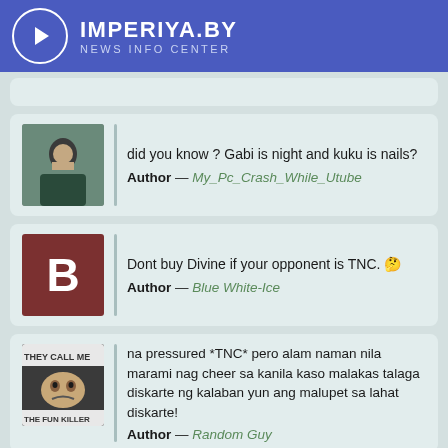IMPERIYA.BY NEWS INFO CENTER
did you know ? Gabi is night and kuku is nails? Author — My_Pc_Crash_While_Utube
Dont buy Divine if your opponent is TNC. Author — Blue White-Ice
na pressured *TNC* pero alam naman nila marami nag cheer sa kanila kaso malakas talaga diskarte ng kalaban yun ang malupet sa lahat diskarte! Author — Random Guy
Secret: We are enivitable TNC: Do you bleed?